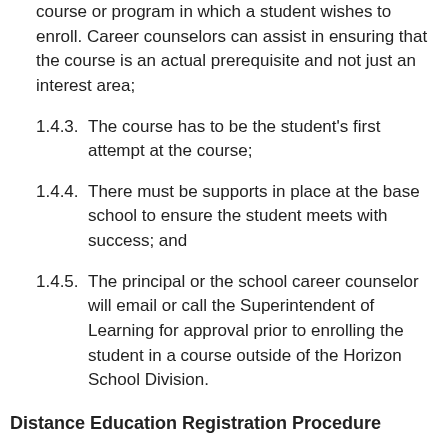course or program in which a student wishes to enroll. Career counselors can assist in ensuring that the course is an actual prerequisite and not just an interest area;
1.4.3.  The course has to be the student's first attempt at the course;
1.4.4.  There must be supports in place at the base school to ensure the student meets with success; and
1.4.5.  The principal or the school career counselor will email or call the Superintendent of Learning for approval prior to enrolling the student in a course outside of the Horizon School Division.
Distance Education Registration Procedure
1.  The Principal of the student's base school will email a completed copy of the electronic AF-230 Distance Education Registration Form.pdf to Central Office in Lanigan to the attention